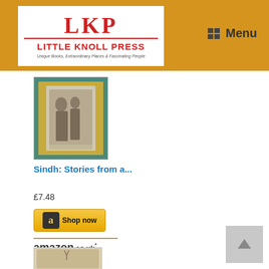[Figure (logo): Little Knoll Press logo with LKP letters in red on white background, tagline: Unique Books, Extraordinary Places & Fascinating People]
Menu
[Figure (photo): Book cover for Sindh: Stories from a... showing vintage photograph with decorative border]
Sindh: Stories from a...
£7.48
[Figure (screenshot): Amazon Shop now button]
[Figure (logo): amazon.co.uk logo]
[Figure (photo): Book cover for Ootacamund showing antique imagery]